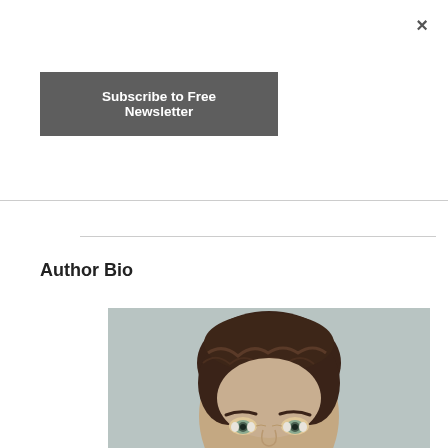×
Subscribe to Free Newsletter
Author Bio
[Figure (photo): Headshot photo of a man with dark brown wavy hair, light eyes, wearing a neutral expression, against a light grey background. The image is cropped to show the face and top of head.]